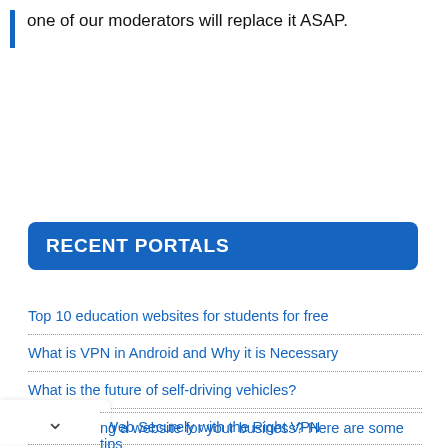one of our moderators will replace it ASAP.
RECENT PORTALS
Top 10 education websites for students for free
What is VPN in Android and Why it is Necessary
What is the future of self-driving vehicles?
Browse the Web Securely with the Right VPN
ng a website for your business? Here are some tips